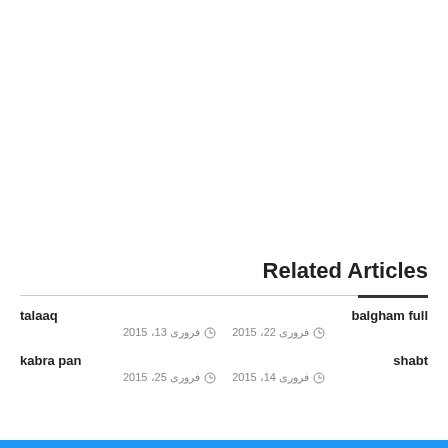Related Articles
balgham full — فروری 22، 2015
talaaq — فروری 13، 2015
shabt — فروری 14، 2015
kabra pan — فروری 25، 2015